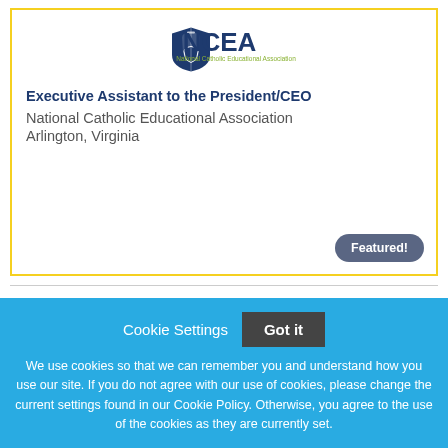[Figure (logo): NCEA National Catholic Educational Association logo with navy shield/bell icon and text]
Executive Assistant to the President/CEO
National Catholic Educational Association
Arlington, Virginia
Featured!
Cookie Settings
Got it
We use cookies so that we can remember you and understand how you use our site. If you do not agree with our use of cookies, please change the current settings found in our Cookie Policy. Otherwise, you agree to the use of the cookies as they are currently set.